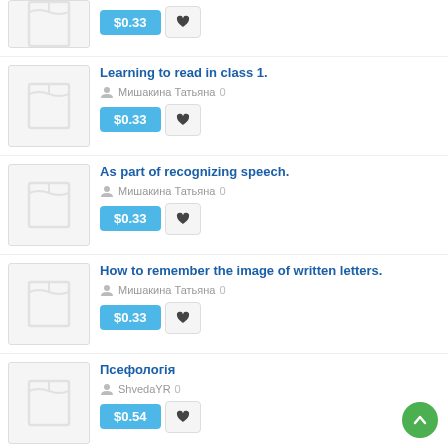$0.33
Learning to read in class 1. — Мишакина Татьяна — $0.33
As part of recognizing speech. — Мишакина Татьяна — $0.33
How to remember the image of written letters. — Мишакина Татьяна — $0.33
Псефологія — ShvedaYR — $0.54